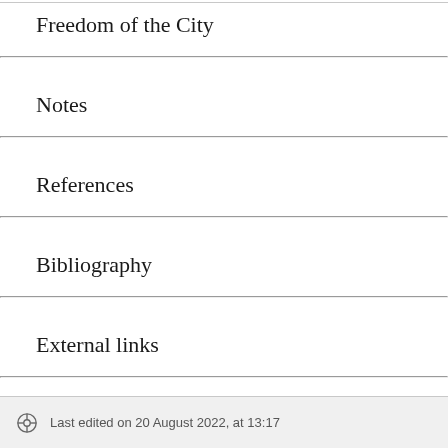Freedom of the City
Notes
References
Bibliography
External links
Last edited on 20 August 2022, at 13:17